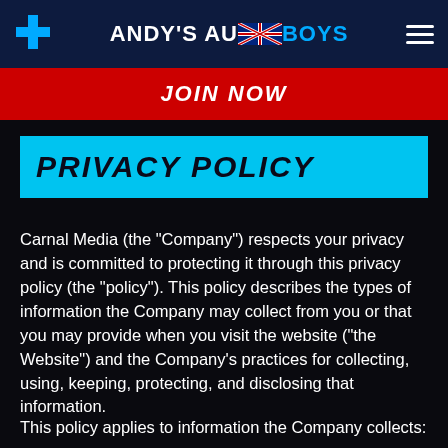ANDY'S AUSSIE BOYS
JOIN NOW
PRIVACY POLICY
Carnal Media (the “Company”) respects your privacy and is committed to protecting it through this privacy policy (the “policy”). This policy describes the types of information the Company may collect from you or that you may provide when you visit the website (“the Website”) and the Company’s practices for collecting, using, keeping, protecting, and disclosing that information.
This policy applies to information the Company collects: